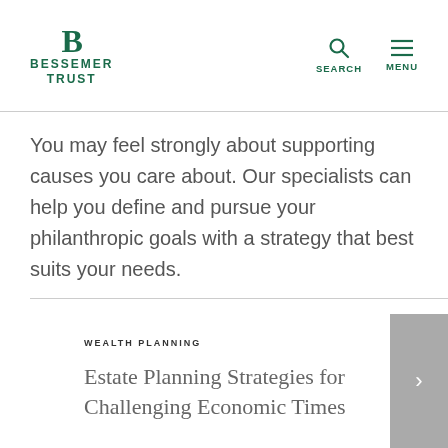BESSEMER TRUST — SEARCH — MENU
You may feel strongly about supporting causes you care about. Our specialists can help you define and pursue your philanthropic goals with a strategy that best suits your needs.
WEALTH PLANNING
Estate Planning Strategies for Challenging Economic Times